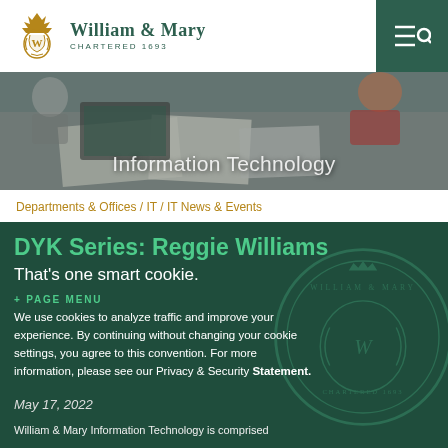WILLIAM & MARY CHARTERED 1693
[Figure (photo): Overhead view of people working at a table with papers and a laptop]
Information Technology
Departments & Offices / IT / IT News & Events
DYK Series: Reggie Williams
That's one smart cookie.
+ PAGE MENU
We use cookies to analyze traffic and improve your experience. By continuing without changing your cookie settings, you agree to this convention. For more information, please see our Privacy & Security Statement.
May 17, 2022
William & Mary Information Technology is comprised